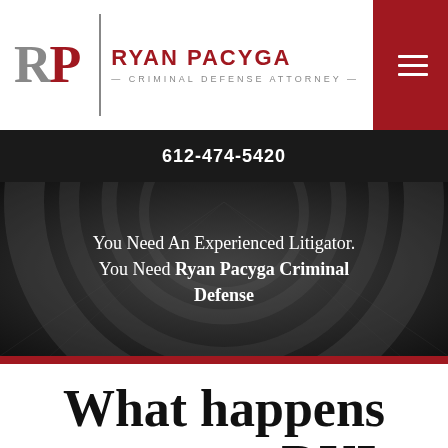[Figure (logo): Ryan Pacyga Criminal Defense Attorney logo with RP initials in gray and red, separated by a vertical line, followed by firm name and tagline]
612-474-5420
You Need An Experienced Litigator. You Need Ryan Pacyga Criminal Defense
What happens to repeat DUI